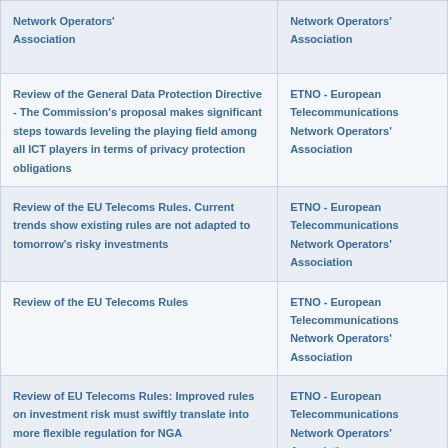| Title | Organization |
| --- | --- |
| Network Operators' Association | ETNO - European Telecommunications Network Operators' Association |
| Review of the General Data Protection Directive - The Commission's proposal makes significant steps towards leveling the playing field among all ICT players in terms of privacy protection obligations | ETNO - European Telecommunications Network Operators' Association |
| Review of the EU Telecoms Rules. Current trends show existing rules are not adapted to tomorrow's risky investments | ETNO - European Telecommunications Network Operators' Association |
| Review of the EU Telecoms Rules | ETNO - European Telecommunications Network Operators' Association |
| Review of EU Telecoms Rules: Improved rules on investment risk must swiftly translate into more flexible regulation for NGA | ETNO - European Telecommunications Network Operators' Association |
| Review of EU Telecoms Rules: ETNO strongly regrets blockage of telecoms package | ETNO - European Telecommunications Network Operators' Association |